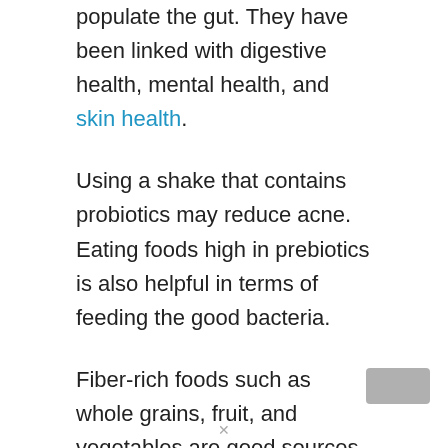populate the gut. They have been linked with digestive health, mental health, and skin health.
Using a shake that contains probiotics may reduce acne. Eating foods high in prebiotics is also helpful in terms of feeding the good bacteria.
Fiber-rich foods such as whole grains, fruit, and vegetables are good sources of prebiotics.